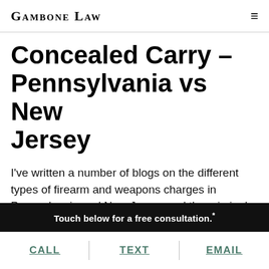Gambone Law
Concealed Carry – Pennsylvania vs New Jersey
I've written a number of blogs on the different types of firearm and weapons charges in Pennsylvania and New Jersey and the criminal
Touch below for a free consultation.*
CALL  TEXT  EMAIL